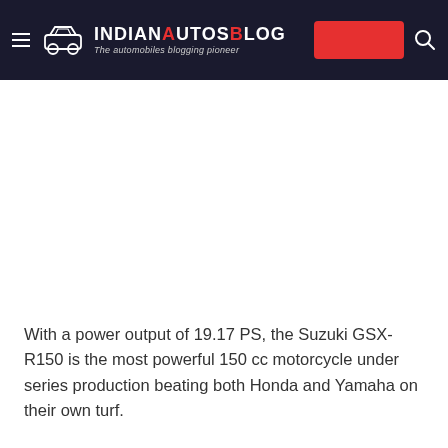IndianAutosBlog — The automobiles blogging pioneer
With a power output of 19.17 PS, the Suzuki GSX-R150 is the most powerful 150 cc motorcycle under series production beating both Honda and Yamaha on their own turf.